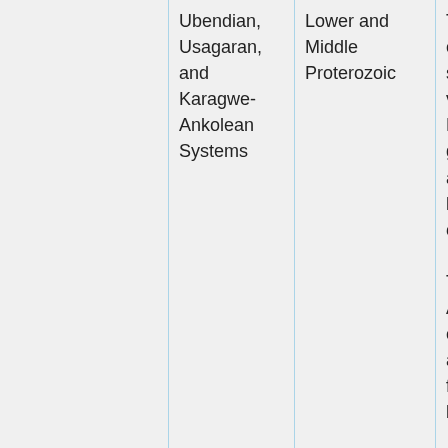|  | Ubendian, Usagaran, and Karagwe-Ankolean Systems | Lower and Middle Proterozoic | The Dougla... System comprises sedimentary and volcanic rocks of the Konse Group and gneisses, amphibolites and lenses of granulites of the Isimani Suite.

The Karagwe-Ankolean System comprises argillaceous formations that have been slightly... |